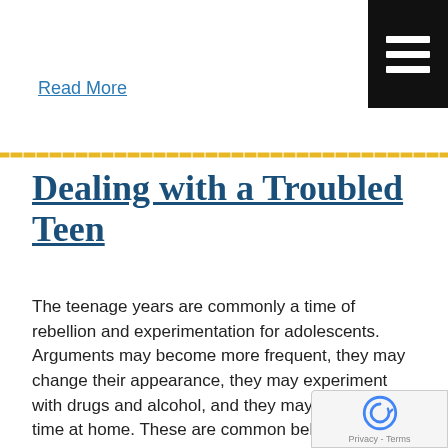Read More
Dealing with a Troubled Teen
The teenage years are commonly a time of rebellion and experimentation for adolescents. Arguments may become more frequent, they may change their appearance, they may experiment with drugs and alcohol, and they may spend less time at home. These are common behaviors for a teenager, but in some cases they are far more extreme. But [...]